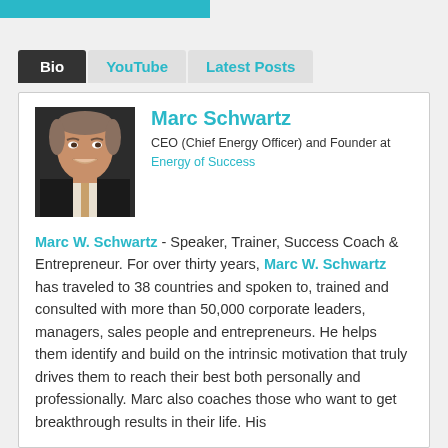[Figure (other): Teal/cyan horizontal bar at top left of page]
Bio | YouTube | Latest Posts
[Figure (photo): Headshot photo of Marc Schwartz, a middle-aged man in a suit, smiling]
Marc Schwartz
CEO (Chief Energy Officer) and Founder at Energy of Success
Marc W. Schwartz - Speaker, Trainer, Success Coach & Entrepreneur. For over thirty years, Marc W. Schwartz has traveled to 38 countries and spoken to, trained and consulted with more than 50,000 corporate leaders, managers, sales people and entrepreneurs. He helps them identify and build on the intrinsic motivation that truly drives them to reach their best both personally and professionally. Marc also coaches those who want to get breakthrough results in their life. His